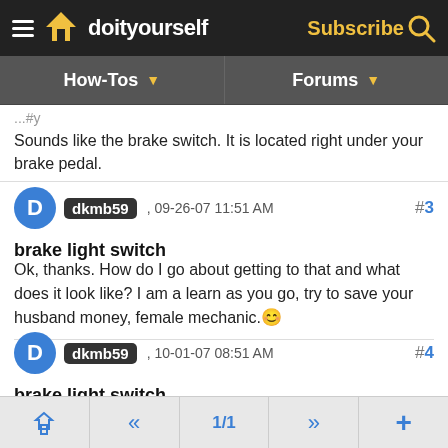doityourself — Subscribe | How-Tos | Forums
Sounds like the brake switch. It is located right under your brake pedal.
dkmb59, 09-26-07 11:51 AM #3
brake light switch
Ok, thanks. How do I go about getting to that and what does it look like? I am a learn as you go, try to save your husband money, female mechanic.
dkmb59, 10-01-07 08:51 AM #4
brake light switch
can you help me?
ADVERTISEMENT
« 1/1 »